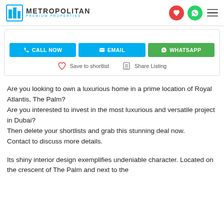METROPOLITAN PREMIUM PROPERTIES
[Figure (screenshot): Action buttons: CALL NOW (blue), EMAIL (blue), WHATSAPP (green); Save to shortlist and Share Listing links]
Are you looking to own a luxurious home in a prime location of Royal Atlantis, The Palm?
Are you interested to invest in the most luxurious and versatile project in Dubai?
Then delete your shortlists and grab this stunning deal now.
Contact to discuss more details.
Its shiny interior design exemplifies undeniable character. Located on the crescent of The Palm and next to the